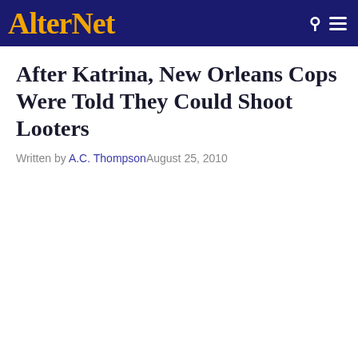AlterNet
After Katrina, New Orleans Cops Were Told They Could Shoot Looters
Written by A.C. Thompson August 25, 2010